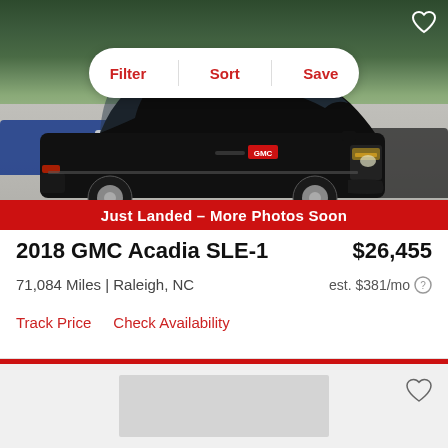[Figure (photo): Black 2018 GMC Acadia SUV in a parking lot, with trees in background. Red banner at bottom reads 'Just Landed – More Photos Soon'. Filter/Sort/Save toolbar overlay at top of photo.]
2018 GMC Acadia SLE-1
$26,455
71,084 Miles | Raleigh, NC
est. $381/mo
Track Price   Check Availability
[Figure (photo): Bottom portion of a second vehicle listing, partially visible]